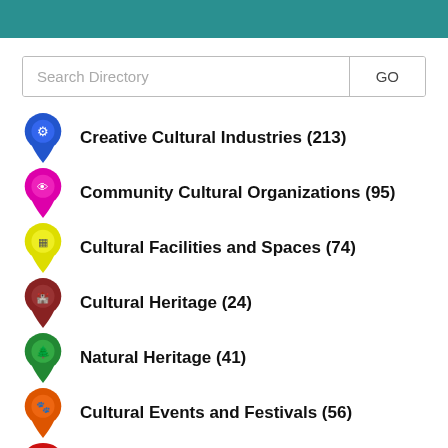Creative Cultural Industries (213)
Community Cultural Organizations (95)
Cultural Facilities and Spaces (74)
Cultural Heritage (24)
Natural Heritage (41)
Cultural Events and Festivals (56)